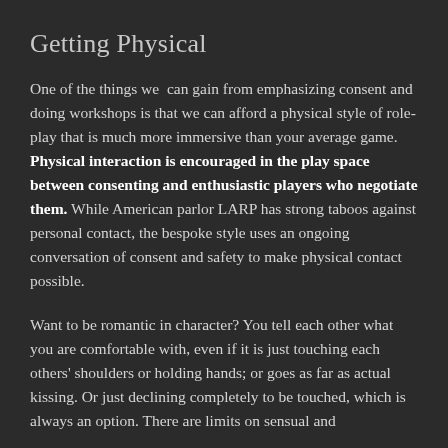Getting Physical
One of the things we  can gain from emphasizing consent and doing workshops is that we can afford a physical style of role-play that is much more immersive than your average game. Physical interaction is encouraged in the play space between consenting and enthusiastic players who negotiate them. While American parlor LARP has strong taboos against personal contact, the bespoke style uses an ongoing conversation of consent and safety to make physical contact possible.
Want to be romantic in character? You tell each other what you are comfortable with, even if it is just touching each others' shoulders or holding hands; or goes as far as actual kissing. Or just declining completely to be touched, which is always an option. There are limits on sensual and